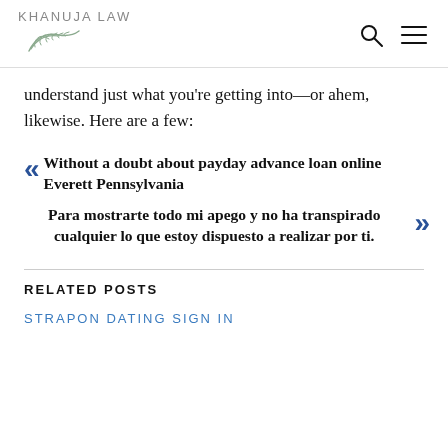KHANUJA LAW
understand just what you're getting into—or ahem, likewise. Here are a few:
Without a doubt about payday advance loan online Everett Pennsylvania
Para mostrarte todo mi apego y no ha transpirado cualquier lo que estoy dispuesto a realizar por ti.
RELATED POSTS
STRAPON DATING SIGN IN